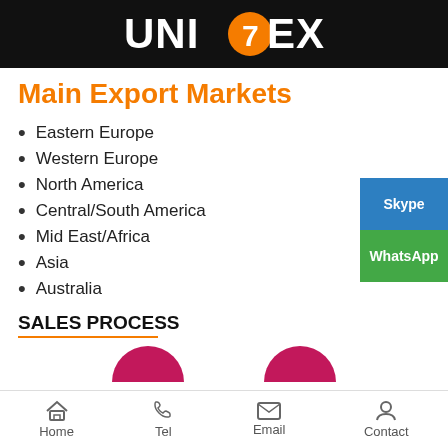UNITEX
Main Export Markets
Eastern Europe
Western Europe
North America
Central/South America
Mid East/Africa
Asia
Australia
SALES PROCESS
[Figure (screenshot): Skype and WhatsApp contact buttons on the right side]
[Figure (infographic): Two pink/magenta circles visible at bottom, part of sales process diagram]
Home  Tel  Email  Contact